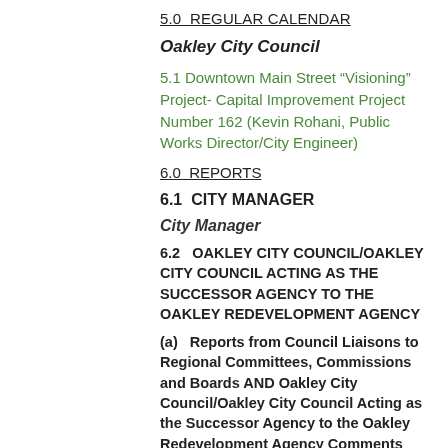5.0  REGULAR CALENDAR
Oakley City Council
5.1 Downtown Main Street “Visioning” Project- Capital Improvement Project Number 162 (Kevin Rohani, Public Works Director/City Engineer)
6.0  REPORTS
6.1  CITY MANAGER
City Manager
6.2   OAKLEY CITY COUNCIL/OAKLEY CITY COUNCIL ACTING AS THE SUCCESSOR AGENCY TO THE OAKLEY REDEVELOPMENT AGENCY
(a)   Reports from Council Liaisons to Regional Committees, Commissions and Boards AND Oakley City Council/Oakley City Council Acting as the Successor Agency to the Oakley Redevelopment Agency Comments